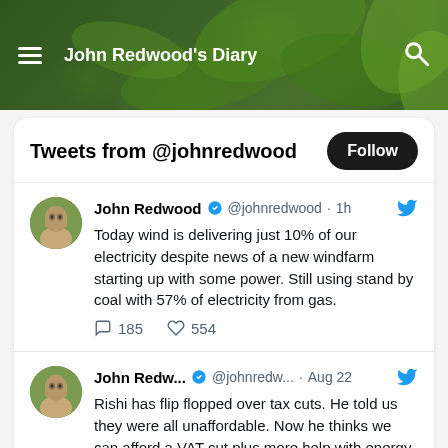John Redwood's Diary
Tweets from @johnredwood
John Redwood @johnredwood · 1h
Today wind is delivering just 10% of our electricity despite news of a new windfarm starting up with some power. Still using stand by coal with 57% of electricity from gas.
185  554
John Redw... @johnredw... · Aug 22
Rishi has flip flopped over tax cuts. He told us they were all unaffordable. Now he thinks we can afford a VAT cut plus more help with energy bills for those on low incomes. He makes up what is affordable as he goes along based on what he thinks he needs to say to win votes